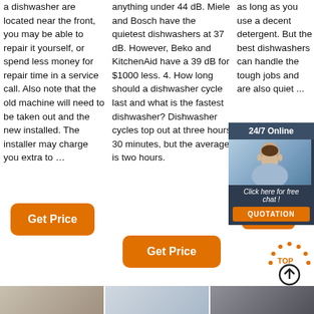a dishwasher are located near the front, you may be able to repair it yourself, or spend less money for repair time in a service call. Also note that the old machine will need to be taken out and the new installed. The installer may charge you extra to …
anything under 44 dB. Miele and Bosch have the quietest dishwashers at 37 dB. However, Beko and KitchenAid have a 39 dB for $1000 less. 4. How long should a dishwasher cycle last and what is the fastest dishwasher? Dishwasher cycles top out at three hours 30 minutes, but the average is two hours.
as long as you use a decent detergent. But the best dishwashers can handle the tough jobs and are also quiet ...
[Figure (infographic): 24/7 Online chat box with a customer service representative photo and a QUOTATION button]
Get Price
Get Price
Get Price
[Figure (infographic): TOP arrow icon (back to top button)]
[Figure (photo): Strip of three small appliance/dishwasher photos at the bottom of the page]